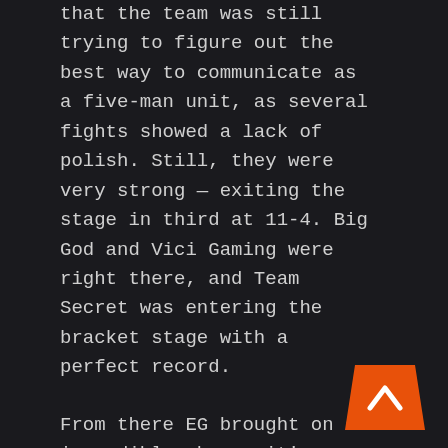that the team was still trying to figure out the best way to communicate as a five-man unit, as several fights showed a lack of polish. Still, they were very strong — exiting the stage in third at 11-4. Big God and Vici Gaming were right there, and Team Secret was entering the bracket stage with a perfect record.
From there EG brought on an incredible show — it's one of the few times that you can see a team really coming together even between sets. They were expected to win their series against Natus Vincere, and ended
[Figure (other): Orange upward-pointing chevron/arrow button in bottom-right corner]